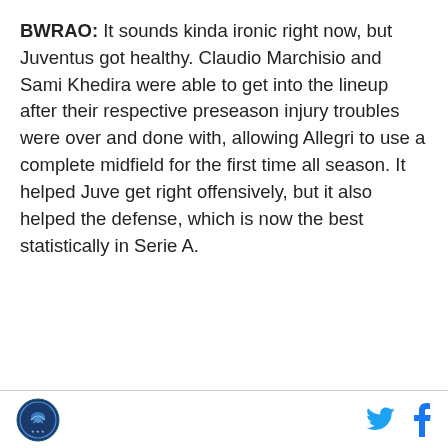BWRAO: It sounds kinda ironic right now, but Juventus got healthy. Claudio Marchisio and Sami Khedira were able to get into the lineup after their respective preseason injury troubles were over and done with, allowing Allegri to use a complete midfield for the first time all season. It helped Juve get right offensively, but it also helped the defense, which is now the best statistically in Serie A.
[logo] [twitter icon] [facebook icon]